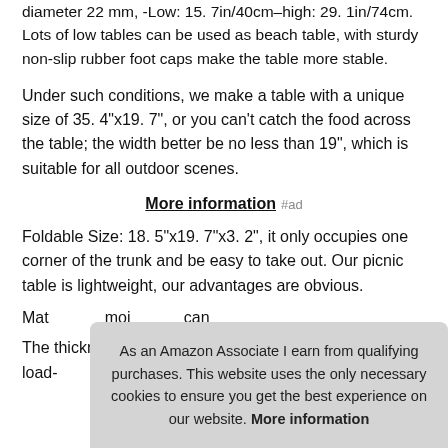diameter 22 mm, -Low: 15. 7in/40cm–high: 29. 1in/74cm. Lots of low tables can be used as beach table, with sturdy non-slip rubber foot caps make the table more stable.
Under such conditions, we make a table with a unique size of 35. 4"x19. 7", or you can't catch the food across the table; the width better be no less than 19", which is suitable for all outdoor scenes.
More information #ad
Foldable Size: 18. 5"x19. 7"x3. 2", it only occupies one corner of the trunk and be easy to take out. Our picnic table is lightweight, our advantages are obvious.
Mat... moi... can...
The thickness of our table desktop is 4cm/1. 6" and the load-
As an Amazon Associate I earn from qualifying purchases. This website uses the only necessary cookies to ensure you get the best experience on our website. More information